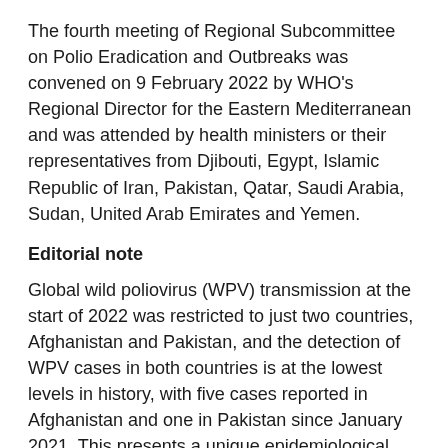The fourth meeting of Regional Subcommittee on Polio Eradication and Outbreaks was convened on 9 February 2022 by WHO's Regional Director for the Eastern Mediterranean and was attended by health ministers or their representatives from Djibouti, Egypt, Islamic Republic of Iran, Pakistan, Qatar, Saudi Arabia, Sudan, United Arab Emirates and Yemen.
Editorial note
Global wild poliovirus (WPV) transmission at the start of 2022 was restricted to just two countries, Afghanistan and Pakistan, and the detection of WPV cases in both countries is at the lowest levels in history, with five cases reported in Afghanistan and one in Pakistan since January 2021. This presents a unique epidemiological window of opportunity to eradicate WPV once and for all; though the recent isolation of WPV from children in Afghanistan and from environmental samples in Pakistan confirms continuing poliovirus circulation in this joint reservoir, demonstrating the necessity for increased eradication efforts in both countries.